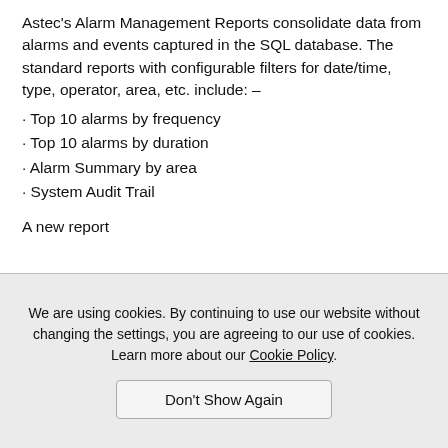Astec's Alarm Management Reports consolidate data from alarms and events captured in the SQL database. The standard reports with configurable filters for date/time, type, operator, area, etc. include: –
Top 10 alarms by frequency
Top 10 alarms by duration
Alarm Summary by area
System Audit Trail
A new report
We are using cookies. By continuing to use our website without changing the settings, you are agreeing to our use of cookies. Learn more about our Cookie Policy.
Don't Show Again